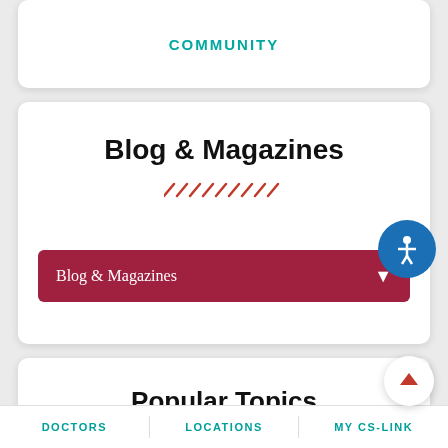COMMUNITY
Blog & Magazines
Blog & Magazines
Popular Topics
IN OUR COMMUNITY
FACES OF CEDARS-SINAI
DOCTORS    LOCATIONS    MY CS-LINK